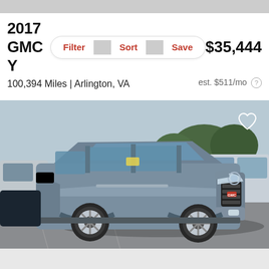2017 GMC Y
$35,444
100,394 Miles | Arlington, VA
est. $511/mo
Track Price    Check Availability
[Figure (photo): 2017 GMC Yukon SUV in silver/grey parked in a dealership lot, front three-quarter view, with other vehicles in background]